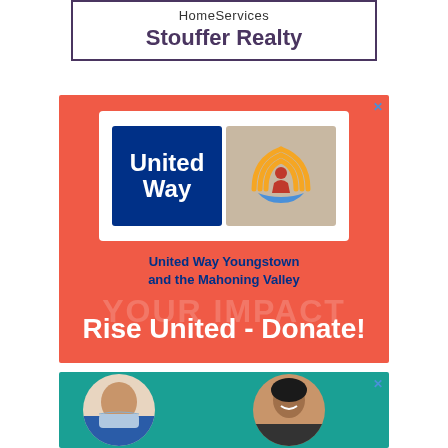[Figure (advertisement): HomeServices Stouffer Realty advertisement with purple border and text]
[Figure (advertisement): United Way Youngstown and the Mahoning Valley donation ad on red background with logo and 'Rise United - Donate!' call to action]
[Figure (advertisement): Advertisement on teal background showing two circular photos of people, one wearing a mask and one smiling man]